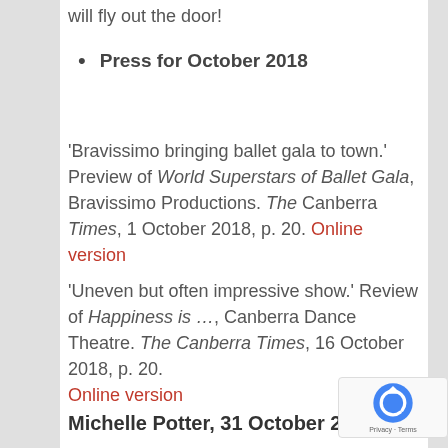will fly out the door!
Press for October 2018
'Bravissimo bringing ballet gala to town.' Preview of World Superstars of Ballet Gala, Bravissimo Productions. The Canberra Times, 1 October 2018, p. 20. Online version
'Uneven but often impressive show.' Review of Happiness is …, Canberra Dance Theatre. The Canberra Times, 16 October 2018, p. 20. Online version
Michelle Potter, 31 October 2018